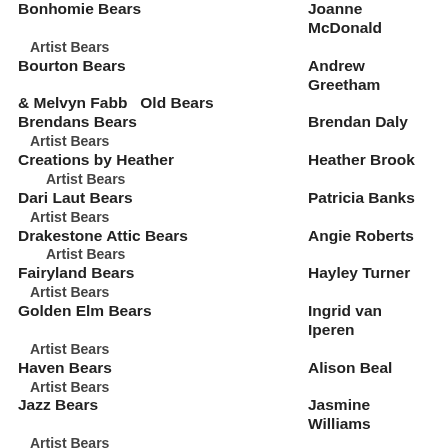Bonhomie Bears – Joanne McDonald
Artist Bears
Bourton Bears – Andrew Greetham
& Melvyn Fabb   Old Bears
Brendans Bears – Brendan Daly
Artist Bears
Creations by Heather – Heather Brook
    Artist Bears
Dari Laut Bears – Patricia Banks
Artist Bears
Drakestone Attic Bears – Angie Roberts
    Artist Bears
Fairyland Bears – Hayley Turner
Artist Bears
Golden Elm Bears – Ingrid van Iperen
Artist Bears
Haven Bears – Alison Beal
Artist Bears
Jazz Bears – Jasmine Williams
Artist Bears
Jenni Bears – Jean Lindley
Artist Bears
Julies Bears – Julie Alder
Orphans
KM Bears – Kerren Morris
Artist Bears